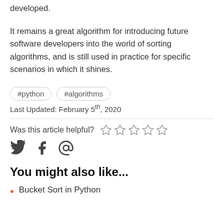developed.
It remains a great algorithm for introducing future software developers into the world of sorting algorithms, and is still used in practice for specific scenarios in which it shines.
#python   #algorithms
Last Updated: February 5th, 2020
Was this article helpful?
You might also like...
Bucket Sort in Python